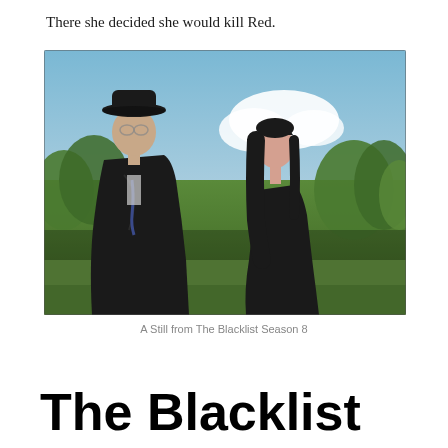There she decided she would kill Red.
[Figure (photo): A still from The Blacklist Season 8 showing two characters: a man in a dark hat, coat, and suit with a blue tie on the left, and a woman with long dark hair wearing a black outfit on the right. They are outdoors with green trees and a blue sky in the background.]
A Still from The Blacklist Season 8
The Blacklist